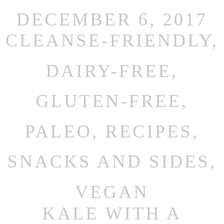DECEMBER 6, 2017 CLEANSE-FRIENDLY, DAIRY-FREE, GLUTEN-FREE, PALEO, RECIPES, SNACKS AND SIDES, VEGAN
KALE WITH A